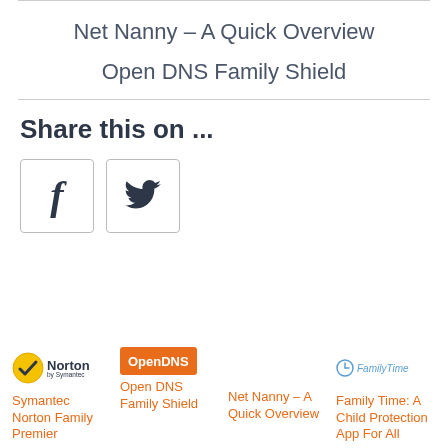Net Nanny – A Quick Overview
Open DNS Family Shield
Share this on ...
[Figure (other): Facebook and Twitter social share buttons]
[Figure (logo): Norton by Symantec logo]
Symantec Norton Family Premier
[Figure (logo): OpenDNS logo badge]
Open DNS Family Shield
Net Nanny – A Quick Overview
[Figure (logo): FamilyTime logo]
Family Time: A Child Protection App For All